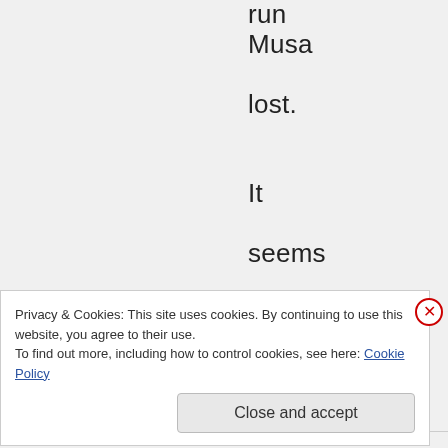run Musa lost. It seems to me like this successorship in
Privacy & Cookies: This site uses cookies. By continuing to use this website, you agree to their use. To find out more, including how to control cookies, see here: Cookie Policy
Close and accept